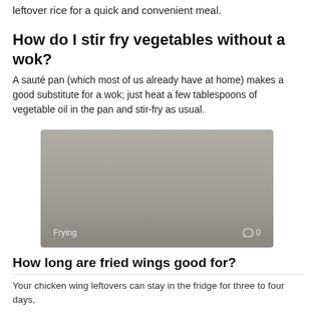leftover rice for a quick and convenient meal.
How do I stir fry vegetables without a wok?
A sauté pan (which most of us already have at home) makes a good substitute for a wok; just heat a few tablespoons of vegetable oil in the pan and stir-fry as usual.
[Figure (photo): A greyed-out placeholder image with the label 'Frying' at the bottom left and a comment icon with '0' at the bottom right.]
How long are fried wings good for?
Your chicken wing leftovers can stay in the fridge for three to four days,